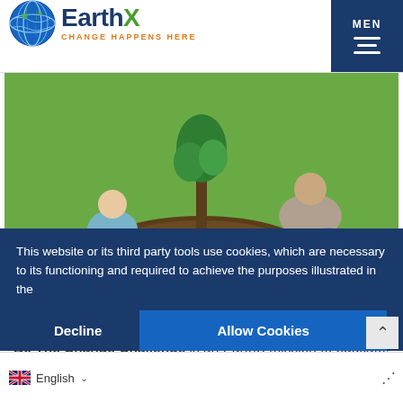EarthX — CHANGE HAPPENS HERE
[Figure (photo): Child and adult planting a tree together outdoors on grass]
WHAT
Be The Change Challenge is an EarthX mission to educate, engage and inspire youth to act to protect our environment.
This website or its third party tools use cookies, which are necessary to its functioning and required to achieve the purposes illustrated in the
Decline  |  Allow Cookies
[Figure (photo): Partial portrait of a person visible behind cookie banner]
English